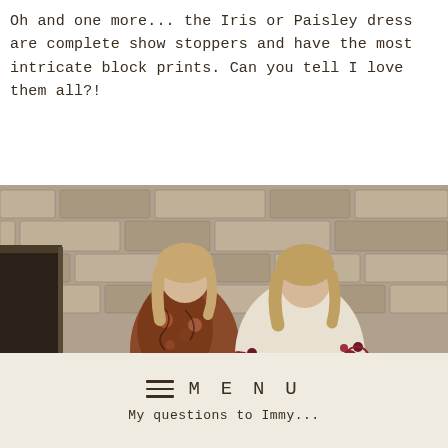Oh and one more... the Iris or Paisley dress are complete show stoppers and have the most intricate block prints. Can you tell I love them all?!
[Figure (photo): Two women sitting on a bench against a stone wall. Left woman wears a dark floral block-print top with cream trousers; right woman wears a cream embroidered dress with floral sleeve details. Stone building background with flowers at base.]
MENU
My questions to Immy...